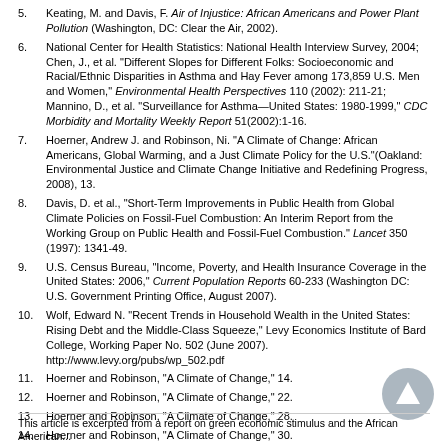5. Keating, M. and Davis, F. Air of Injustice: African Americans and Power Plant Pollution (Washington, DC: Clear the Air, 2002).
6. National Center for Health Statistics: National Health Interview Survey, 2004; Chen, J., et al. "Different Slopes for Different Folks: Socioeconomic and Racial/Ethnic Disparities in Asthma and Hay Fever among 173,859 U.S. Men and Women," Environmental Health Perspectives 110 (2002): 211-21; Mannino, D., et al. "Surveillance for Asthma—United States: 1980-1999," CDC Morbidity and Mortality Weekly Report 51(2002):1-16.
7. Hoerner, Andrew J. and Robinson, Ni. "A Climate of Change: African Americans, Global Warming, and a Just Climate Policy for the U.S."(Oakland: Environmental Justice and Climate Change Initiative and Redefining Progress, 2008), 13.
8. Davis, D. et al., "Short-Term Improvements in Public Health from Global Climate Policies on Fossil-Fuel Combustion: An Interim Report from the Working Group on Public Health and Fossil-Fuel Combustion." Lancet 350 (1997): 1341-49.
9. U.S. Census Bureau, "Income, Poverty, and Health Insurance Coverage in the United States: 2006," Current Population Reports 60-233 (Washington DC: U.S. Government Printing Office, August 2007).
10. Wolf, Edward N. "Recent Trends in Household Wealth in the United States: Rising Debt and the Middle-Class Squeeze," Levy Economics Institute of Bard College, Working Paper No. 502 (June 2007). http://www.levy.org/pubs/wp_502.pdf
11. Hoerner and Robinson, "A Climate of Change," 14.
12. Hoerner and Robinson, "A Climate of Change," 22.
13. Hoerner and Robinson, "A Climate of Change," 28.
14. Hoerner and Robinson, "A Climate of Change," 30.
15. Hoerner and Robinson, "A Climate of Change," 30.
16. Hoerner and Robinson, "A Climate of Change," 35.
This article is excerpted from a report on green economic stimulus and the African American...